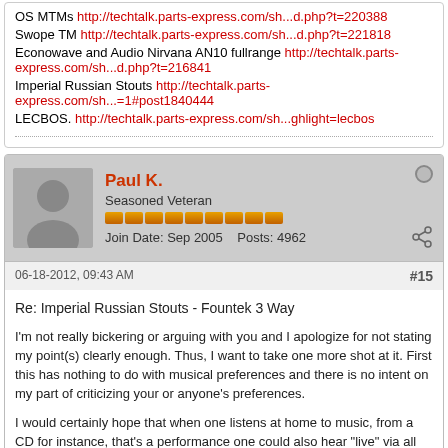OS MTMs http://techtalk.parts-express.com/sh...d.php?t=220388
Swope TM http://techtalk.parts-express.com/sh...d.php?t=221818
Econowave and Audio Nirvana AN10 fullrange http://techtalk.parts-express.com/sh...d.php?t=216841
Imperial Russian Stouts http://techtalk.parts-express.com/sh...=1#post1840444
LECBOS. http://techtalk.parts-express.com/sh...ghlight=lecbos
Paul K.
Seasoned Veteran
Join Date: Sep 2005  Posts: 4962
06-18-2012, 09:43 AM
#15
Re: Imperial Russian Stouts - Fountek 3 Way
I'm not really bickering or arguing with you and I apologize for not stating my point(s) clearly enough. Thus, I want to take one more shot at it. First this has nothing to do with musical preferences and there is no intent on my part of criticizing your or anyone's preferences.
I would certainly hope that when one listens at home to music, from a CD for instance, that's a performance one could also hear "live" via all amplified sound, the musical reproduction at home should fairly easily and accurately replicate that live performance within reasonable expectations of dynamic and loudness abilities, and frequency response